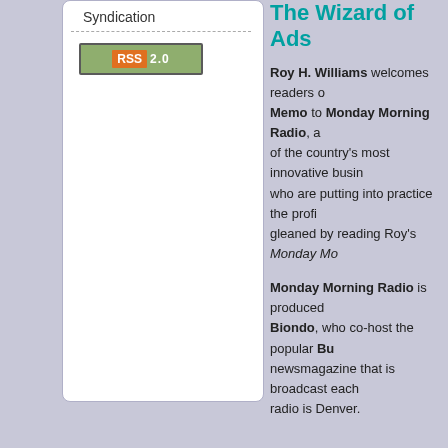Syndication
[Figure (logo): RSS 2.0 badge with orange RSS label and green background]
The Wizard of Ads
Roy H. Williams welcomes readers of his Monday Morning Memo to Monday Morning Radio, a showcase of the country's most innovative business owners who are putting into practice the profitable insights gleaned by reading Roy's Monday Mo...
Monday Morning Radio is produced by Dean Biondo, who co-host the popular Bu... newsmagazine that is broadcast each... radio is Denver.
Monday Morning Radio makes a fi... and be sure to pass it along to your fr...
Direct download: MMRadio-Intro1.mp3
Category: About Monday Morning Radio -- posted a...